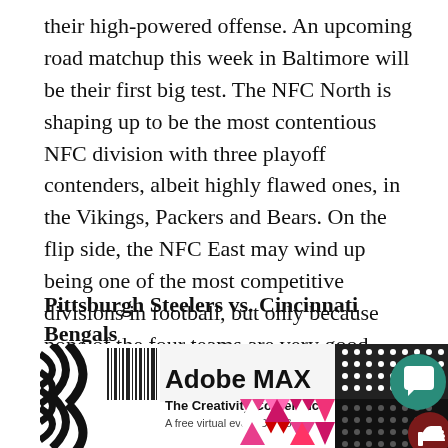their high-powered offense. An upcoming road matchup this week in Baltimore will be their first big test. The NFC North is shaping up to be the most contentious NFC division with three playoff contenders, albeit highly flawed ones, in the Vikings, Packers and Bears. On the flip side, the NFC East may wind up being one of the most competitive divisions in football, but only because none of the four teams are very good. With all that said, here's a recap of everything that happened in week six.
Pittsburgh Steelers vs. Cincinnati Bengals
[Figure (illustration): Adobe MAX advertisement banner showing 'Adobe MAX The Creativity Conference A free virtual event Oct 18-20' with geometric shapes including triangles in pink and red, a dot grid pattern, black and white wavy stripes, a vertical barcode-like pattern, and two circular buttons (teal chat bubble icon, dark red thumbs up icon).]